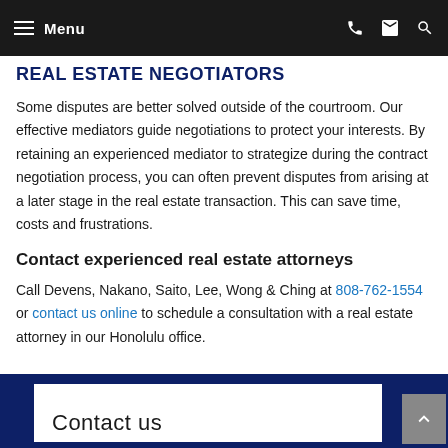Menu
REAL ESTATE NEGOTIATORS
Some disputes are better solved outside of the courtroom. Our effective mediators guide negotiations to protect your interests. By retaining an experienced mediator to strategize during the contract negotiation process, you can often prevent disputes from arising at a later stage in the real estate transaction. This can save time, costs and frustrations.
Contact experienced real estate attorneys
Call Devens, Nakano, Saito, Lee, Wong & Ching at 808-762-1554 or contact us online to schedule a consultation with a real estate attorney in our Honolulu office.
Contact us